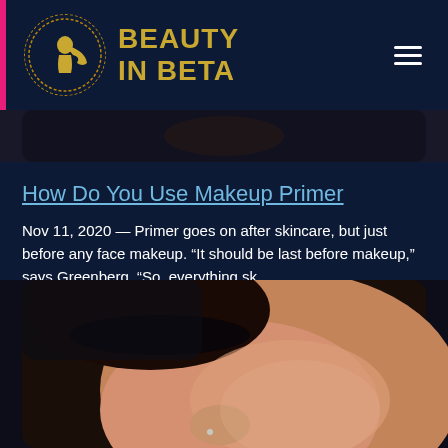BEAUTY IN BETA
[Figure (photo): Top portion of a dark photograph partially visible at top of page]
How Do You Use Makeup Primer
Nov 11, 2020 — Primer goes on after skincare, but just before any face makeup. “It should be last before makeup,” says Greenberg. “So, everything sk …
[Figure (photo): Close-up photo of woman's face showing eye with makeup, cheek with skin texture visible, nose piercing, dark background]